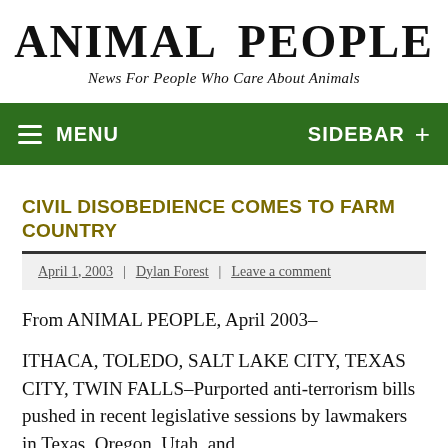ANIMAL PEOPLE — News For People Who Care About Animals
MENU   SIDEBAR +
CIVIL DISOBEDIENCE COMES TO FARM COUNTRY
April 1, 2003 | Dylan Forest | Leave a comment
From ANIMAL PEOPLE, April 2003–
ITHACA, TOLEDO, SALT LAKE CITY, TEXAS CITY, TWIN FALLS–Purported anti-terrorism bills pushed in recent legislative sessions by lawmakers in Texas, Oregon, Utah, and